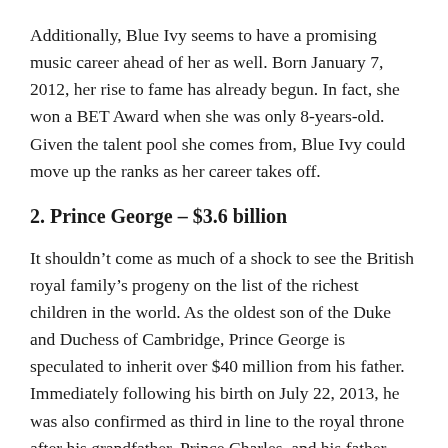Additionally, Blue Ivy seems to have a promising music career ahead of her as well. Born January 7, 2012, her rise to fame has already begun. In fact, she won a BET Award when she was only 8-years-old. Given the talent pool she comes from, Blue Ivy could move up the ranks as her career takes off.
2. Prince George – $3.6 billion
It shouldn't come as much of a shock to see the British royal family's progeny on the list of the richest children in the world. As the oldest son of the Duke and Duchess of Cambridge, Prince George is speculated to inherit over $40 million from his father. Immediately following his birth on July 22, 2013, he was also confirmed as third in line to the royal throne after his grandfather, Prince Charles, and his father, Prince William. However, there is